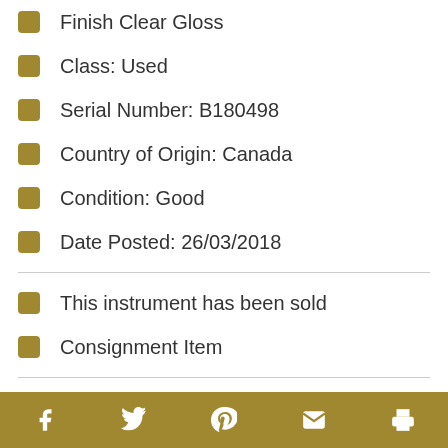Finish Clear Gloss
Class: Used
Serial Number: B180498
Country of Origin: Canada
Condition: Good
Date Posted: 26/03/2018
This instrument has been sold
Consignment Item
Required CITES documentation
Facebook Twitter Pinterest Email Print